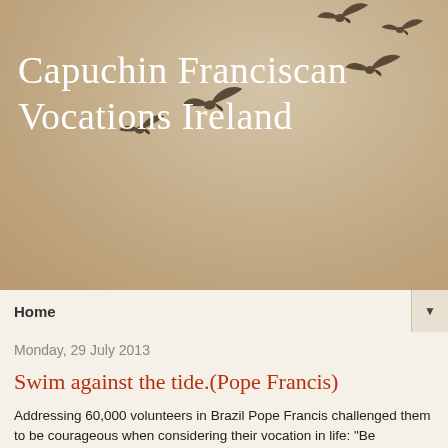Capuchin Franciscan Vocations Ireland
[Figure (illustration): Decorative silhouettes of birds in flight on sandy/tan background]
Home
Monday, 29 July 2013
Swim against the tide.(Pope Francis)
Addressing 60,000 volunteers in Brazil Pope Francis challenged them to be courageous when considering their vocation in life: "Be revolutionaries, he said, swim against the tide. Have the courage to swim against the tide .... some are called to be priests, some religious. Do not be afraid of what God asks of you. Ask the Lord and he will show you the way. Ask the Lord: what do you want of me?"